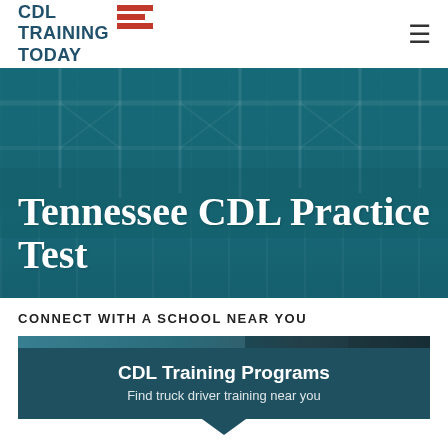[Figure (logo): CDL Training Today logo with red horizontal bars and dark teal text]
[Figure (photo): Hero banner with teal/dark teal overlay showing a truck or bridge structure in background]
Tennessee CDL Practice Test
CONNECT WITH A SCHOOL NEAR YOU
CDL Training Programs
Find truck driver training near you